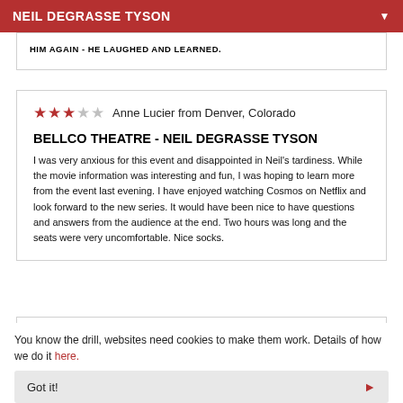NEIL DEGRASSE TYSON
HIM AGAIN - HE LAUGHED AND LEARNED.
★★★☆☆  Anne Lucier from Denver, Colorado
BELLCO THEATRE - NEIL DEGRASSE TYSON
I was very anxious for this event and disappointed in Neil's tardiness. While the movie information was interesting and fun, I was hoping to learn more from the event last evening. I have enjoyed watching Cosmos on Netflix and look forward to the new series. It would have been nice to have questions and answers from the audience at the end. Two hours was long and the seats were very uncomfortable. Nice socks.
You know the drill, websites need cookies to make them work. Details of how we do it here.
Got it!